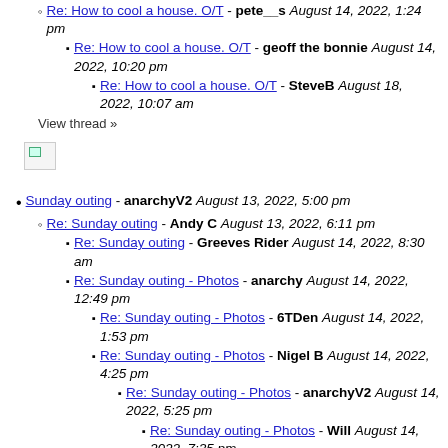Re: How to cool a house. O/T - pete__s August 14, 2022, 1:24 pm
Re: How to cool a house. O/T - geoff the bonnie August 14, 2022, 10:20 pm
Re: How to cool a house. O/T - SteveB August 18, 2022, 10:07 am
View thread »
[Figure (other): Broken image icon]
Sunday outing - anarchyV2 August 13, 2022, 5:00 pm
Re: Sunday outing - Andy C August 13, 2022, 6:11 pm
Re: Sunday outing - Greeves Rider August 14, 2022, 8:30 am
Re: Sunday outing - Photos - anarchy August 14, 2022, 12:49 pm
Re: Sunday outing - Photos - 6TDen August 14, 2022, 1:53 pm
Re: Sunday outing - Photos - Nigel B August 14, 2022, 4:25 pm
Re: Sunday outing - Photos - anarchyV2 August 14, 2022, 5:25 pm
Re: Sunday outing - Photos - Will August 14, 2022, 7:35 pm
Re: Sunday outing - Photos - anarchy August 15, 2022, 12:49 pm
Re: Sunday outing - moe August 14, 2022, 9:23 am
View thread »
[Figure (other): Broken image icon]
So hard to get the police - JERRY August 13, 2022, 3:31 pm